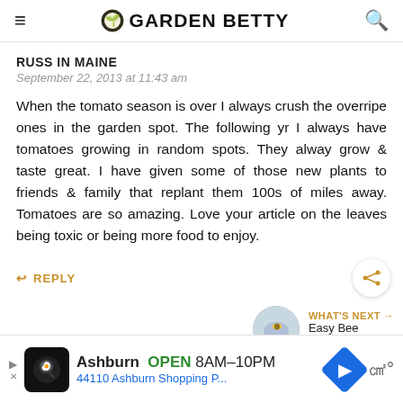GARDEN BETTY
RUSS IN MAINE
September 22, 2013 at 11:43 am
When the tomato season is over I always crush the overripe ones in the garden spot. The following yr I always have tomatoes growing in random spots. They alway grow & taste great. I have given some of those new plants to friends & family that replant them 100s of miles away. Tomatoes are so amazing. Love your article on the leaves being toxic or being more food to enjoy.
REPLY
[Figure (screenshot): WHAT'S NEXT arrow - Easy Bee Identificatio... with circular thumbnail of bee on flower]
[Figure (screenshot): Advertisement bar: Ashburn OPEN 8AM-10PM, 44110 Ashburn Shopping P...]